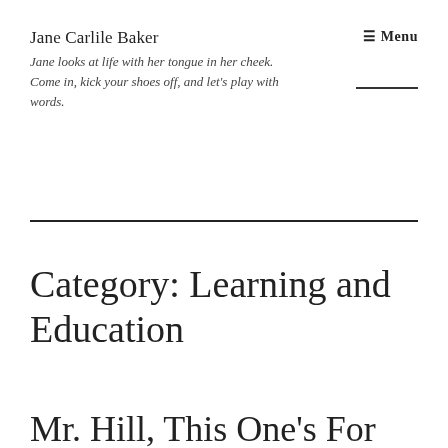Jane Carlile Baker
Jane looks at life with her tongue in her cheek. Come in, kick your shoes off, and let's play with words.
☰ Menu
Category: Learning and Education
Mr. Hill, This One's For You